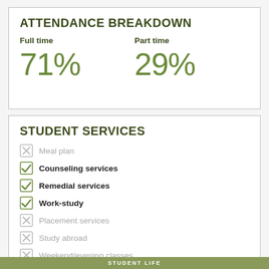ATTENDANCE BREAKDOWN
Full time
Part time
71%
29%
STUDENT SERVICES
Meal plan
Counseling services
Remedial services
Work-study
Placement services
Study abroad
Weekend/evening classes
On-campus day care for student's children
STUDENT LIFE